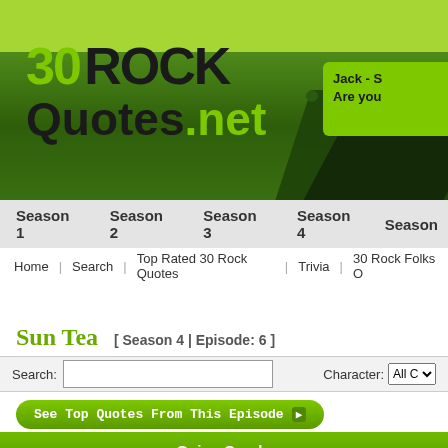30 ROCK Quotes.net
Jack - S | Are you
Season 1 | Season 2 | Season 3 | Season 4 | Season
Home | Search | Top Rated 30 Rock Quotes | Trivia | 30 Rock Folks O
Sun Tea [ Season 4 | Episode: 6 ]
Search:   Character: All C
See Top Quotes From This Episode
Going Condo